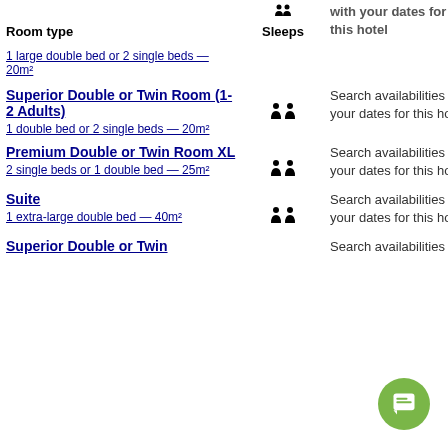| Room type | Sleeps | with your dates for this hotel |
| --- | --- | --- |
| 1 large double bed or 2 single beds — 20m² | 👥 |  |
| Superior Double or Twin Room (1-2 Adults)
1 double bed or 2 single beds — 20m² | 👥 | Search availabilities with your dates for this hotel |
| Premium Double or Twin Room XL
2 single beds or 1 double bed — 25m² | 👥 | Search availabilities with your dates for this hotel |
| Suite
1 extra-large double bed — 40m² | 👥 | Search availabilities with your dates for this hotel |
| Superior Double or Twin | 👥 | Search availabilities |